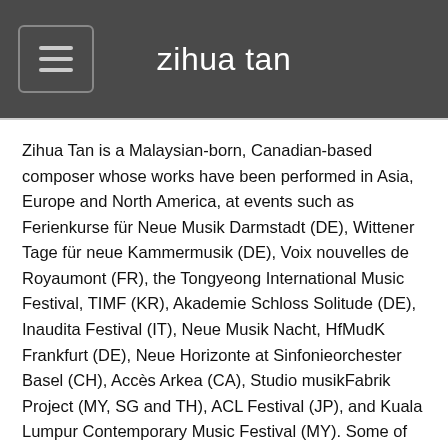zihua tan
Zihua Tan is a Malaysian-born, Canadian-based composer whose works have been performed in Asia, Europe and North America, at events such as Ferienkurse für Neue Musik Darmstadt (DE), Wittener Tage für neue Kammermusik (DE), Voix nouvelles de Royaumont (FR), the Tongyeong International Music Festival, TIMF (KR), Akademie Schloss Solitude (DE), Inaudita Festival (IT), Neue Musik Nacht, HfMudK Frankfurt (DE), Neue Horizonte at Sinfonieorchester Basel (CH), Accès Arkea (CA), Studio musikFabrik Project (MY, SG and TH), ACL Festival (JP), and Kuala Lumpur Contemporary Music Festival (MY). Some of the ensembles he has worked with include Ensemble Mosaik, Ensemble Recherche, Ensemble TIMF, Ensemble SurPlus, Studio musikFabrik, Ensemble L'Arsenale, Divertimento Ensemble, Internationale Ensemble Modern Akademie, Ensemble Horizonte, Ensemble BlauerReiter, Ensemble Wapiti, Ensemble Schallfeld, Ensemble Arkea, Ensemble Phorminx, Contempoartensemble, the Malaysian Philharmonic Orchestra and the McGill Contemporary Music Ensemble. He has also-worked with conductors such as Enno Poppe, Peter Veale, Kah-Chung